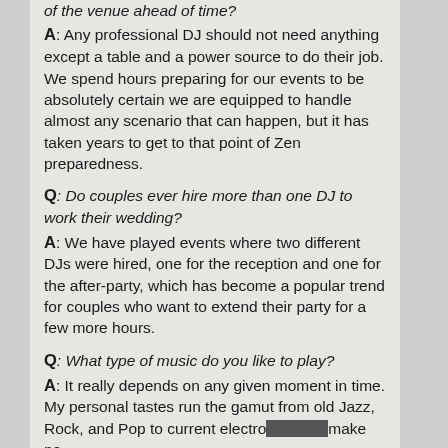of the venue ahead of time?
A: Any professional DJ should not need anything except a table and a power source to do their job. We spend hours preparing for our events to be absolutely certain we are equipped to handle almost any scenario that can happen, but it has taken years to get to that point of Zen preparedness.
Q: Do couples ever hire more than one DJ to work their wedding?
A: We have played events where two different DJs were hired, one for the reception and one for the after-party, which has become a popular trend for couples who want to extend their party for a few more hours.
Q: What type of music do you like to play?
A: It really depends on any given moment in time. My personal tastes run the gamut from old Jazz, Rock, and Pop to current electro... make no